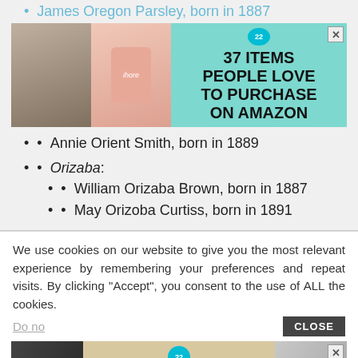James Oregon Parsley, born in 1887
[Figure (infographic): Advertisement banner: 37 Items People Love To Purchase On Amazon, with teal background, badge showing 22, close button X]
Annie Orient Smith, born in 1889
Orizaba:
William Orizaba Brown, born in 1887
May Orizoba Curtiss, born in 1891
We use cookies on our website to give you the most relevant experience by remembering your preferences and repeat visits. By clicking “Accept”, you consent to the use of ALL the cookies.
Do no
[Figure (infographic): Advertisement banner: 37 Home And Kitchen Items Everyone Should Own, Mueller brand, with food/kitchen background, badge showing 22, close button X]